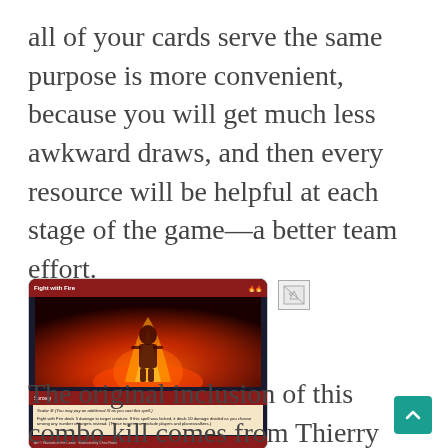all of your cards serve the same purpose is more convenient, because you will get much less awkward draws, and then every resource will be helpful at each stage of the game—a better team effort.
[Figure (photo): A Magic: The Gathering card called 'Fight with Fire' featuring a figure surrounded by flames on a dark background. The card has a red color scheme with a text box at the bottom describing its effects.]
[Figure (photo): A broken/missing image placeholder shown as a small icon with an arrow.]
The original inclusion of this combo kill comes from Thierry Ramboa: once you